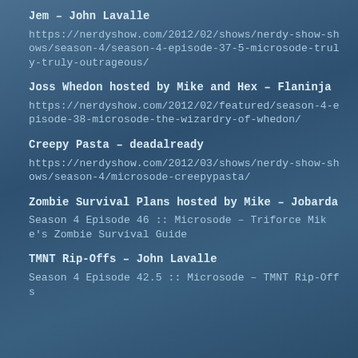Jem – John Lavalle
https://nerdyshow.com/2012/02/shows/nerdy-show-shows/season-4/season-4-episode-37-5-microsode-truly-truly-outrageous/
Joss Whedon hosted by Mike and Hex – Flaninja
https://nerdyshow.com/2012/02/featured/season-4-episode-38-microsode-the-wizardry-of-whedon/
Creepy Pasta – deadalready
https://nerdyshow.com/2012/03/shows/nerdy-show-shows/season-4/microsode-creepypasta/
Zombie Survival Plans hosted by Mike – Jobarda
Season 4 Episode 46 :: Microsode – Triforce Mike's Zombie Survival Guide
TMNT Rip-Offs – John Lavalle
Season 4 Episode 42.5 :: Microsode – TMNT Rip-Offs